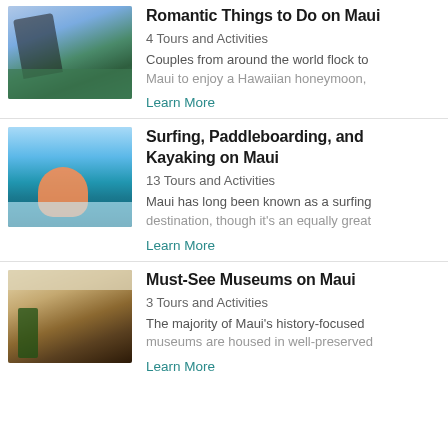[Figure (photo): Aerial coastal view from a helicopter showing green cliffs and ocean]
Romantic Things to Do on Maui
4 Tours and Activities
Couples from around the world flock to Maui to enjoy a Hawaiian honeymoon,
Learn More
[Figure (photo): Surfer riding a large turquoise wave on a red surfboard]
Surfing, Paddleboarding, and Kayaking on Maui
13 Tours and Activities
Maui has long been known as a surfing destination, though it's an equally great
Learn More
[Figure (photo): Interior of a museum room with paintings on walls and historical furnishings]
Must-See Museums on Maui
3 Tours and Activities
The majority of Maui's history-focused museums are housed in well-preserved
Learn More